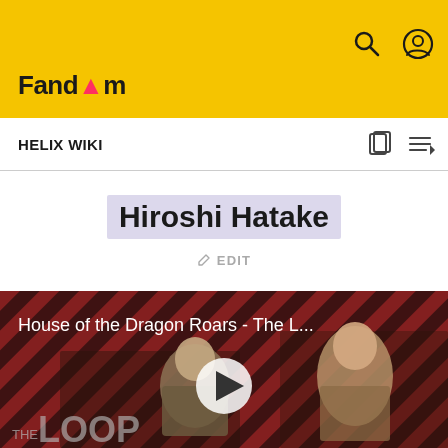Fandom | Helix Wiki
Hiroshi Hatake
EDIT
[Figure (screenshot): Video thumbnail for 'House of the Dragon Roars - The L...' with play button, two characters visible, and 'THE LOOP' logo overlay on a red diagonal striped background]